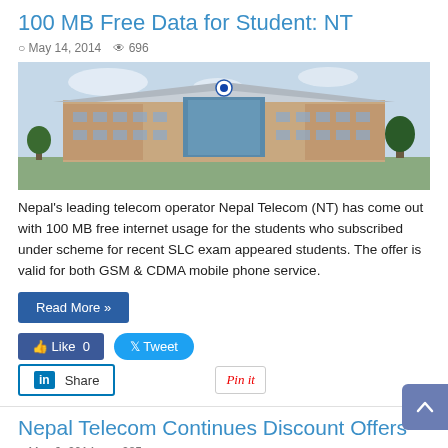100 MB Free Data for Student: NT
May 14, 2014   696
[Figure (photo): Photograph of a multi-story building with Nepal Telecom signage/logo on the facade.]
Nepal's leading telecom operator Nepal Telecom (NT) has come out with 100 MB free internet usage for the students who subscribed under scheme for recent SLC exam appeared students. The offer is valid for both GSM & CDMA mobile phone service.
Read More »
Like 0   Tweet   Share   Pin it
Nepal Telecom Continues Discount Offers
May 6, 2014   285